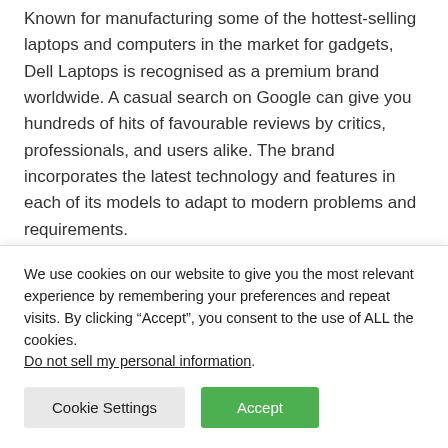Known for manufacturing some of the hottest-selling laptops and computers in the market for gadgets, Dell Laptops is recognised as a premium brand worldwide. A casual search on Google can give you hundreds of hits of favourable reviews by critics, professionals, and users alike. The brand incorporates the latest technology and features in each of its models to adapt to modern problems and requirements.
The pandemic largely shifted professional and academic
We use cookies on our website to give you the most relevant experience by remembering your preferences and repeat visits. By clicking “Accept”, you consent to the use of ALL the cookies.
Do not sell my personal information.